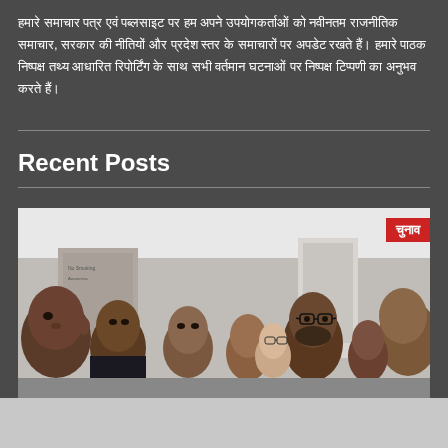हमारे समाचार पत्र एवं पब्लसाइट पर हम अपने उपयोगकर्ताओं को नवीनतम राजनीतिक समाचार, सरकार की नीतियों और प्रदेश स्तर के समाचारों पर अपडेट रखते हैं। हमारे पाठक निष्पक्ष तथ्य आधारित रिपोर्टिंग के साथ सभी वर्तमान घटनाओं पर निष्पक्ष टिप्पणी का अनुभव करते हैं।
Recent Posts
[Figure (photo): A group of people in an indoor setting, seemingly in a discussion or meeting. A red badge with Hindi text 'चुनाव' (Election) is visible in the top right corner of the image.]